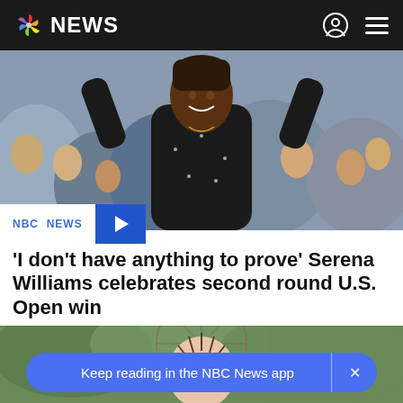NBC NEWS
[Figure (photo): Serena Williams celebrating with arms raised above a crowd of spectators, wearing a black outfit]
NBC NEWS
'I don’t have anything to prove' Serena Williams celebrates second round U.S. Open win
[Figure (photo): A creepy doll-like puppet or Halloween decoration with needles in its head, surrounded by foliage and a wire wheel]
Keep reading in the NBC News app